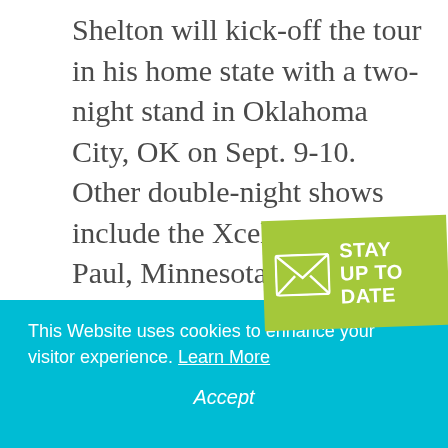Shelton will kick-off the tour in his home state with a two-night stand in Oklahoma City, OK on Sept. 9-10. Other double-night shows include the Xcel C... Saint Paul, Minnesota and the Barclays Center in Brooklyn, NY.
[Figure (infographic): Green banner badge with envelope icon and text: STAY UP TO DATE]
April 23, 2016
This Website uses cookies to enhance your visitor experience. Learn More
Accept